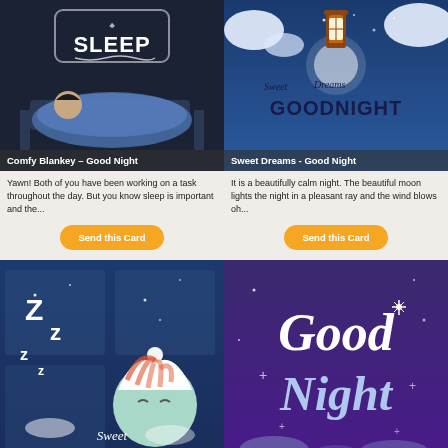[Figure (illustration): Comfy Blankey Good Night card - dark background with person sleeping under blanket and 'SLEEP' text logo]
[Figure (illustration): Sweet Dreams Good Night card - night sky with lantern, moon, text 'Sweet Dreams GOODNIGHT']
Yawn! Both of you have been working on a task throughout the day. But you know sleep is important and the...
It is a beautifully calm night. The beautiful moon lights the night in a pleasant ray and the wind blows oh...
Send this Card
Send this Card
[Figure (illustration): Sweet Dreams card - dark blue background with ZzZ letters, moon character with striped sleeping hat]
[Figure (illustration): Good Night card - purple background with 'Good Night' script lettering and sparkle star]